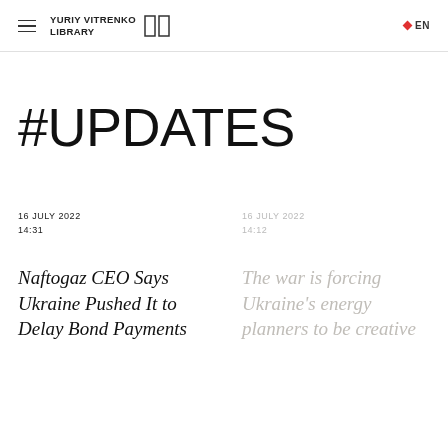YURIY VITRENKO LIBRARY  EN
#UPDATES
16 JULY 2022
14:31
Naftogaz CEO Says Ukraine Pushed It to Delay Bond Payments
16 JULY 2022
14:12
The war is forcing Ukraine's energy planners to be creative